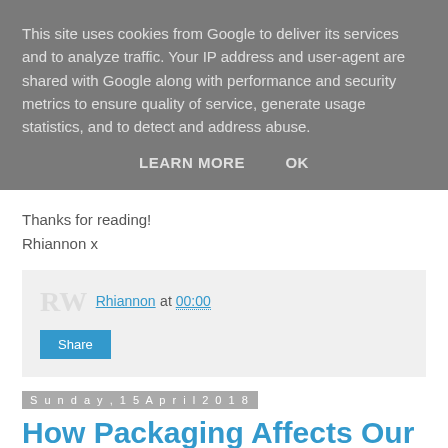This site uses cookies from Google to deliver its services and to analyze traffic. Your IP address and user-agent are shared with Google along with performance and security metrics to ensure quality of service, generate usage statistics, and to detect and address abuse.
LEARN MORE   OK
Thanks for reading!
Rhiannon x
Rhiannon at 00:00
Share
Sunday, 15 April 2018
How Packaging Affects Our Beauty Purchasing Habits